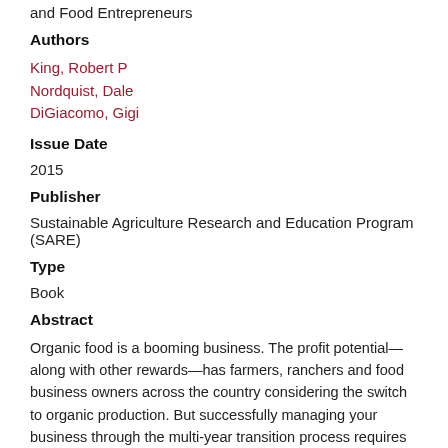and Food Entrepreneurs
Authors
King, Robert P
Nordquist, Dale
DiGiacomo, Gigi
Issue Date
2015
Publisher
Sustainable Agriculture Research and Education Program (SARE)
Type
Book
Abstract
Organic food is a booming business. The profit potential—along with other rewards—has farmers, ranchers and food business owners across the country considering the switch to organic production. But successfully managing your business through the multi-year transition process requires careful planning. What are your long-term business goals? What organic market opportunities are you in a position to exploit? How will you acquire the resources you need to make the transition? How will you anticipate and deal with challenges as they arise? These are just a few of the critical